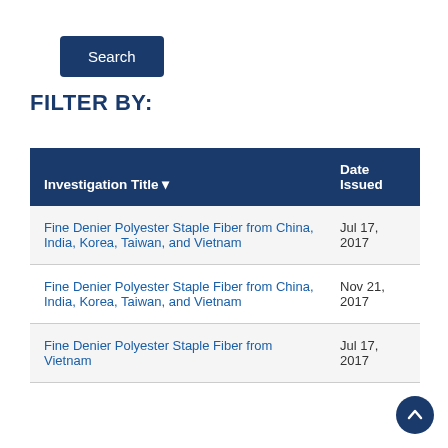Search
FILTER BY:
| Investigation Title ▾ | Date Issued |
| --- | --- |
| Fine Denier Polyester Staple Fiber from China, India, Korea, Taiwan, and Vietnam | Jul 17, 2017 |
| Fine Denier Polyester Staple Fiber from China, India, Korea, Taiwan, and Vietnam | Nov 21, 2017 |
| Fine Denier Polyester Staple Fiber from Vietnam | Jul 17, 2017 |